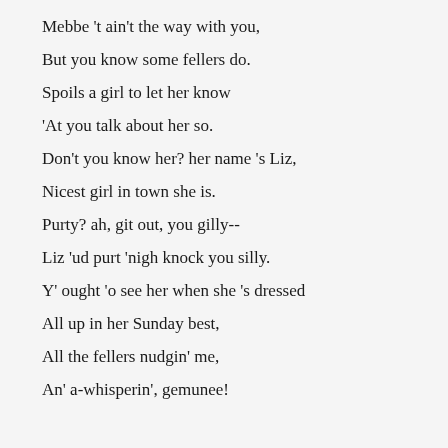Mebbe 't ain't the way with you,
But you know some fellers do.
Spoils a girl to let her know
'At you talk about her so.
Don't you know her? her name 's Liz,
Nicest girl in town she is.
Purty? ah, git out, you gilly--
Liz 'ud purt 'nigh knock you silly.
Y' ought 'o see her when she 's dressed
All up in her Sunday best,
All the fellers nudgin' me,
An' a-whisperin', gemunee!